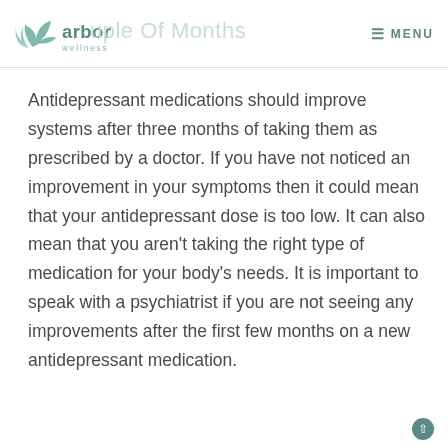arbor wellness — MENU
Antidepressant medications should improve systems after three months of taking them as prescribed by a doctor. If you have not noticed an improvement in your symptoms then it could mean that your antidepressant dose is too low. It can also mean that you aren't taking the right type of medication for your body's needs. It is important to speak with a psychiatrist if you are not seeing any improvements after the first few months on a new antidepressant medication.